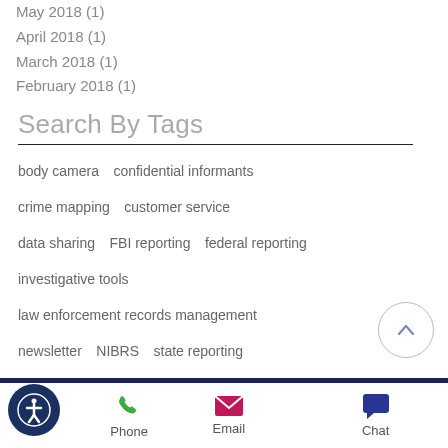May 2018 (1)
April 2018 (1)
March 2018 (1)
February 2018 (1)
Search By Tags
body camera   confidential informants
crime mapping   customer service
data sharing   FBI reporting   federal reporting
investigative tools
law enforcement records management
newsletter   NIBRS   state reporting
synchronization architecture   tips   video
Phone   Email   Chat